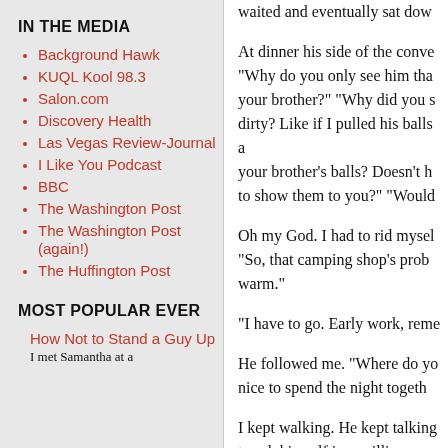waited and eventually sat dow
IN THE MEDIA
Background Hawk
KUQL Kool 98.3
Salon.com
Discovery Health
Las Vegas Review-Journal
I Like You Podcast
BBC
The Washington Post
The Washington Post (again!)
The Huffington Post
MOST POPULAR EVER
How Not to Stand a Guy Up
I met Samantha at a
At dinner his side of the conve "Why do you only see him tha your brother?" "Why did you s dirty? Like if I pulled his balls a your brother's balls? Doesn't h to show them to you?" "Would
Oh my God. I had to rid mysel "So, that camping shop's prob warm."
"I have to go. Early work, reme
He followed me. "Where do yo nice to spend the night togeth
I kept walking. He kept talking to ask himself in a million ways